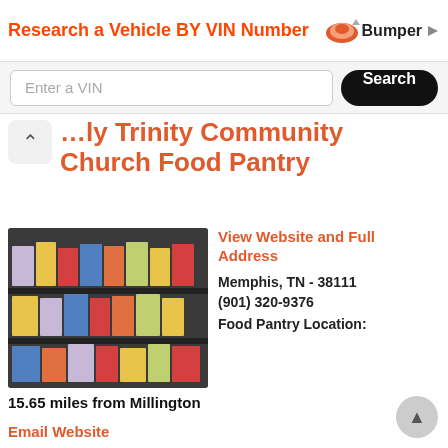Research a Vehicle BY VIN Number — Bumper
Enter a VIN
Holy Trinity Community Church Food Pantry
[Figure (photo): Photo of food pantry shelves stocked with packaged food items]
View Website and Full Address
Memphis, TN - 38111
(901) 320-9376
Food Pantry Location: 15.65 miles from Millington
Email Website
Did you know since October 22, 2012, our church has served over 100 Families! Our church DOES make a difference. These upcoming winter months we all know